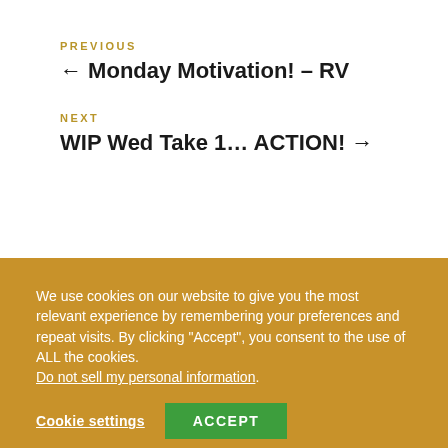PREVIOUS
← Monday Motivation! – RV
NEXT
WIP Wed Take 1… ACTION! →
We use cookies on our website to give you the most relevant experience by remembering your preferences and repeat visits. By clicking "Accept", you consent to the use of ALL the cookies. Do not sell my personal information.
Cookie settings
ACCEPT